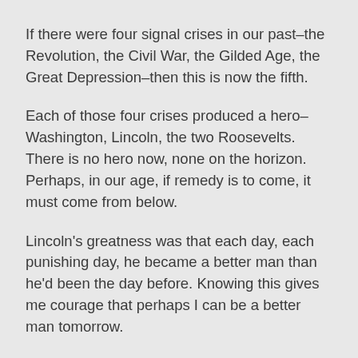If there were four signal crises in our past–the Revolution, the Civil War, the Gilded Age, the Great Depression–then this is now the fifth.
Each of those four crises produced a hero–Washington, Lincoln, the two Roosevelts. There is no hero now, none on the horizon. Perhaps, in our age, if remedy is to come, it must come from below.
Lincoln's greatness was that each day, each punishing day, he became a better man than he'd been the day before. Knowing this gives me courage that perhaps I can be a better man tomorrow.
Perhaps I may yet contribute to making a better world for my son.